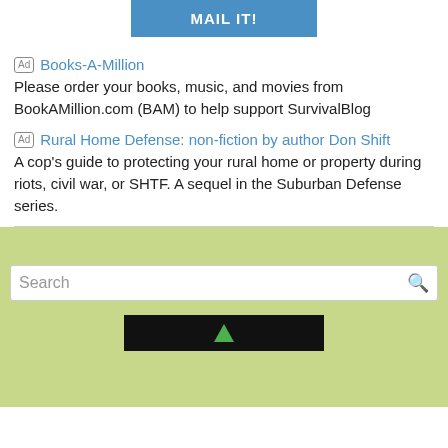[Figure (other): Blue button with white bold text 'MAIL IT!']
Ad  Books-A-Million
Please order your books, music, and movies from BookAMillion.com (BAM) to help support SurvivalBlog
Ad  Rural Home Defense: non-fiction by author Don Shift
A cop's guide to protecting your rural home or property during riots, civil war, or SHTF. A sequel in the Suburban Defense series.
[Figure (screenshot): Green background section with a search bar containing placeholder 'Search' and a search icon, and a black bar with a green upward arrow at the bottom.]